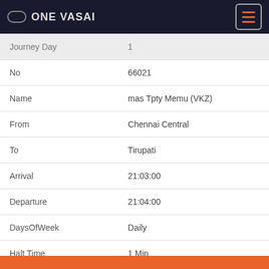ONE VASAI
| Field | Value |
| --- | --- |
| Journey Day | 1 |
| No | 66021 |
| Name | mas Tpty Memu (VKZ) |
| From | Chennai Central |
| To | Tirupati |
| Arrival | 21:03:00 |
| Departure | 21:04:00 |
| DaysOfWeek | Daily |
| Halt Time | 1 Min |
| Distance | 96 Km from Chennai Central |
| Journey Day | 1 |